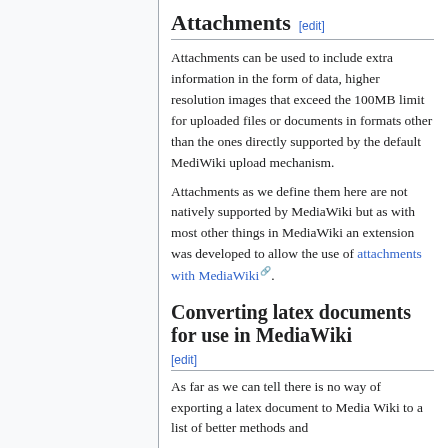Attachments [edit]
Attachments can be used to include extra information in the form of data, higher resolution images that exceed the 100MB limit for uploaded files or documents in formats other than the ones directly supported by the default MediWiki upload mechanism.
Attachments as we define them here are not natively supported by MediaWiki but as with most other things in MediaWiki an extension was developed to allow the use of attachments with MediaWiki.
Converting latex documents for use in MediaWiki [edit]
As far as we can tell there is no way of exporting a latex document to Media Wiki to a list of better methods and...